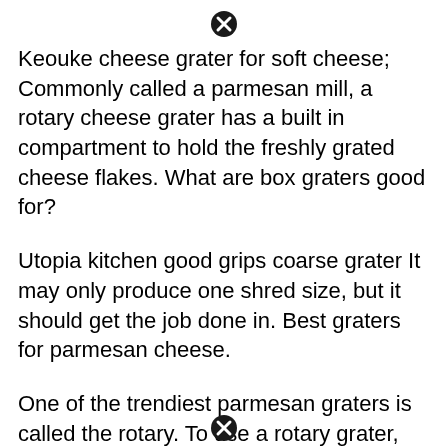[Figure (other): Close/cancel icon (circle with X) at top center]
Keouke cheese grater for soft cheese; Commonly called a parmesan mill, a rotary cheese grater has a built in compartment to hold the freshly grated cheese flakes. What are box graters good for?
Utopia kitchen good grips coarse grater It may only produce one shred size, but it should get the job done in. Best graters for parmesan cheese.
One of the trendiest parmesan graters is called the rotary. To use a rotary grater, you insert the food you want to grate into the hopper and close the lid. The x home rotary cheese grater is a great tool to use in your kitchen.
[Figure (other): Close/cancel icon (circle with X) at bottom center]